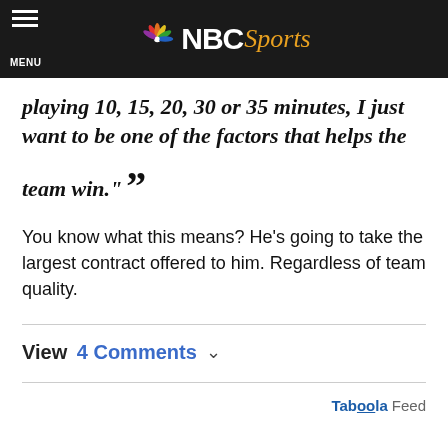NBC Sports
playing 10, 15, 20, 30 or 35 minutes, I just want to be one of the factors that helps the team win."
You know what this means? He’s going to take the largest contract offered to him. Regardless of team quality.
View 4 Comments
Taboola Feed